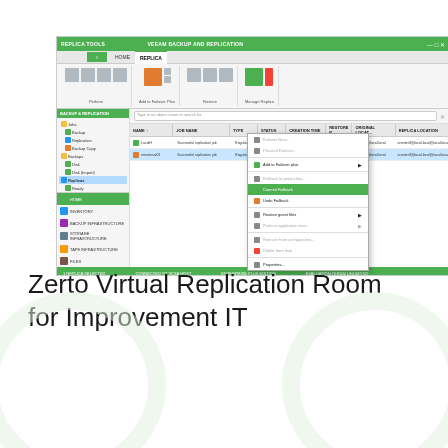[Figure (screenshot): Veeam Backup and Replication software interface showing a replica job context menu with options including 'Commit Failback' highlighted, displaying job list with columns for Name, Job Name, Type, Status, Creation Time, Restore Point, Original Location, and Replica Location.]
Zerto Virtual Replication Room for Improvement IT